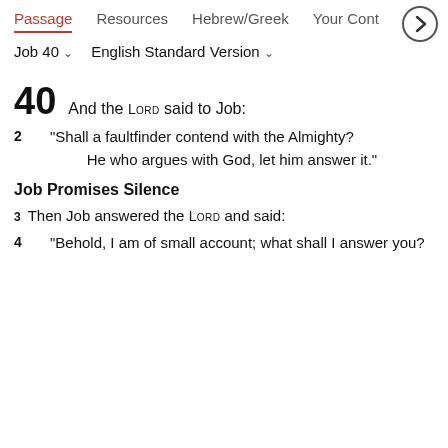Passage  Resources  Hebrew/Greek  Your Cont >
Job 40  English Standard Version
40 And the LORD said to Job:
2 "Shall a faultfinder contend with the Almighty? He who argues with God, let him answer it."
Job Promises Silence
3 Then Job answered the LORD and said:
4 "Behold, I am of small account; what shall I answer you?